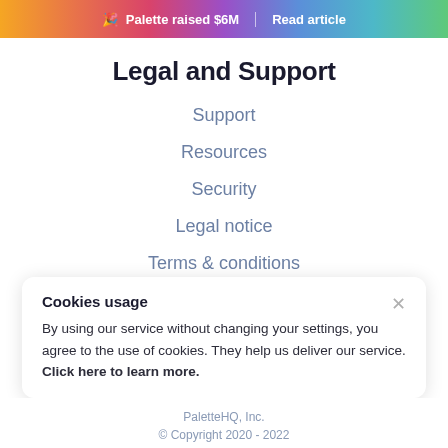🎉 Palette raised $6M | Read article
Legal and Support
Support
Resources
Security
Legal notice
Terms & conditions
Cookies usage
By using our service without changing your settings, you agree to the use of cookies. They help us deliver our service. Click here to learn more.
PaletteHQ, Inc.
© Copyright 2020 - 2022